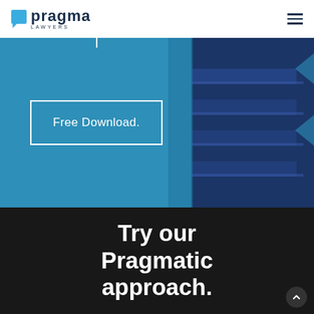pragma LAWYERS
[Figure (screenshot): Blue two-tone hero section with a 'Free Download.' button in a white-bordered box on the left blue panel, and dark navy horizontal stripe pattern on the right panel]
Try our Pragmatic approach.